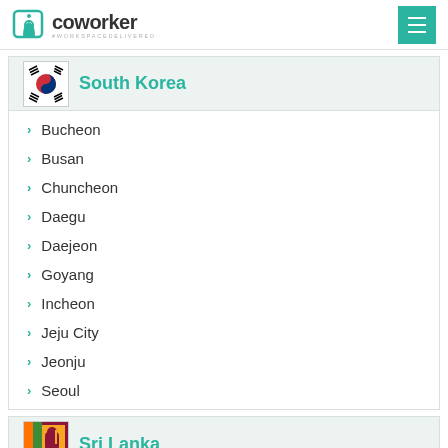coworker #WORKSPACEDELIVERED
South Korea
Bucheon
Busan
Chuncheon
Daegu
Daejeon
Goyang
Incheon
Jeju City
Jeonju
Seoul
Sri Lanka